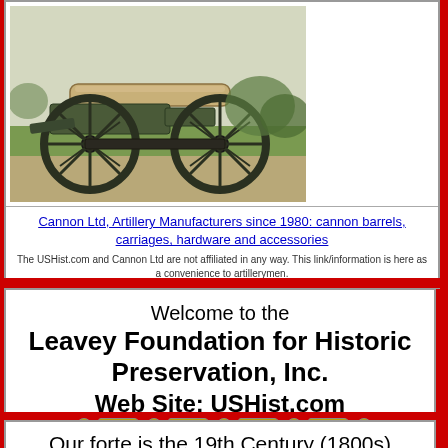[Figure (photo): Historical cannon on wheeled carriage, photographed outdoors on a path with grass in background]
Cannon Ltd, Artillery Manufacturers since 1980: cannon barrels, carriages, hardware and accessories
The USHist.com and Cannon Ltd are not affiliated in any way. This link/information is here as a convenience to artillerymen.
Welcome to the Leavey Foundation for Historic Preservation, Inc.
Web Site: USHist.com
d.b.a.: AzRA Re-Enactors Association / AZRA
Contact Information
Our forte is the 19th Century (1800s) United States History covering the period 1820-1920.